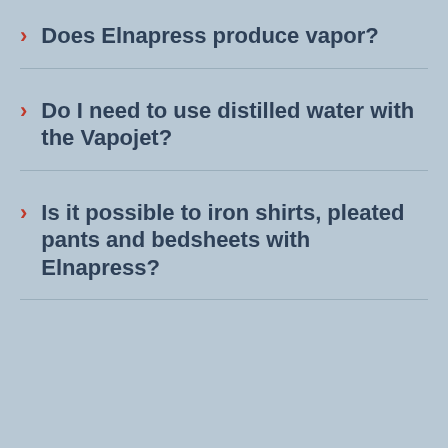Does Elnapress produce vapor?
Do I need to use distilled water with the Vapojet?
Is it possible to iron shirts, pleated pants and bedsheets with Elnapress?